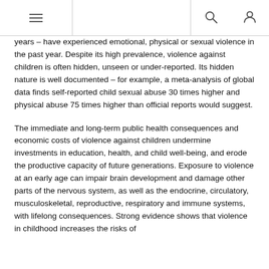[navigation header with menu, search, and user icons]
years – have experienced emotional, physical or sexual violence in the past year. Despite its high prevalence, violence against children is often hidden, unseen or under-reported. Its hidden nature is well documented – for example, a meta-analysis of global data finds self-reported child sexual abuse 30 times higher and physical abuse 75 times higher than official reports would suggest.
The immediate and long-term public health consequences and economic costs of violence against children undermine investments in education, health, and child well-being, and erode the productive capacity of future generations. Exposure to violence at an early age can impair brain development and damage other parts of the nervous system, as well as the endocrine, circulatory, musculoskeletal, reproductive, respiratory and immune systems, with lifelong consequences. Strong evidence shows that violence in childhood increases the risks of